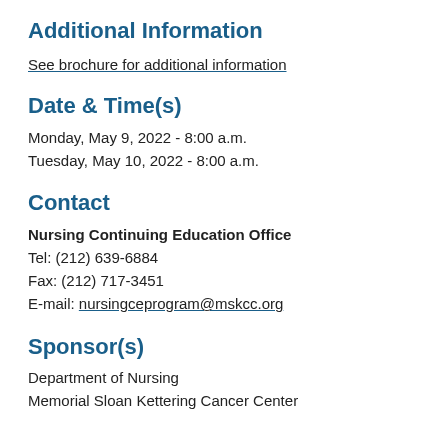Additional Information
See brochure for additional information
Date & Time(s)
Monday, May 9, 2022 - 8:00 a.m.
Tuesday, May 10, 2022 - 8:00 a.m.
Contact
Nursing Continuing Education Office
Tel: (212) 639-6884
Fax: (212) 717-3451
E-mail: nursingceprogram@mskcc.org
Sponsor(s)
Department of Nursing
Memorial Sloan Kettering Cancer Center